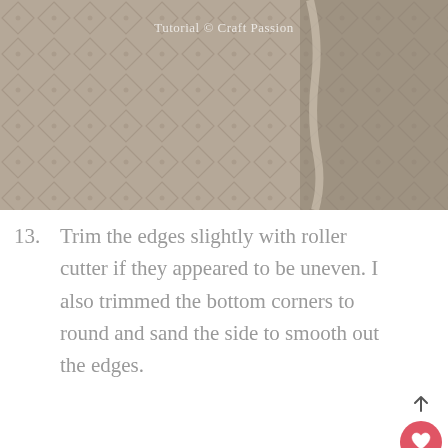[Figure (photo): Close-up photo of a quilted fabric texture in beige/taupe with diamond pattern, with a watermark reading 'Tutorial © Craft Passion']
13. Trim the edges slightly with roller cutter if they appeared to be uneven. I also trimmed the bottom corners to round and sand the side to smooth out the edges.
[Figure (photo): Photo of cutting tools including a rotary cutter and ruler on a green cutting mat, with a 'What's Next' overlay showing 'Leather Coin Purse - Free...']
[Figure (photo): Advertisement banner with dark background showing a rainbow graphic and '#ViralKindness' text]